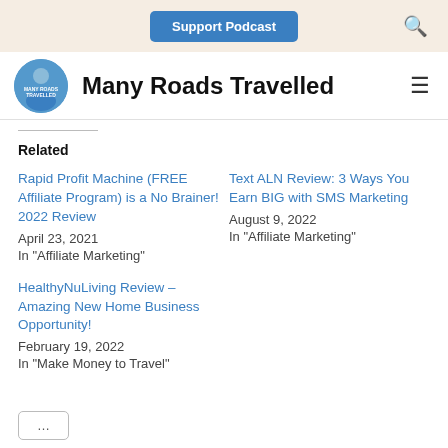Support Podcast
Many Roads Travelled
Related
Rapid Profit Machine (FREE Affiliate Program) is a No Brainer! 2022 Review
April 23, 2021
In "Affiliate Marketing"
Text ALN Review: 3 Ways You Earn BIG with SMS Marketing
August 9, 2022
In "Affiliate Marketing"
HealthyNuLiving Review – Amazing New Home Business Opportunity!
February 19, 2022
In "Make Money to Travel"